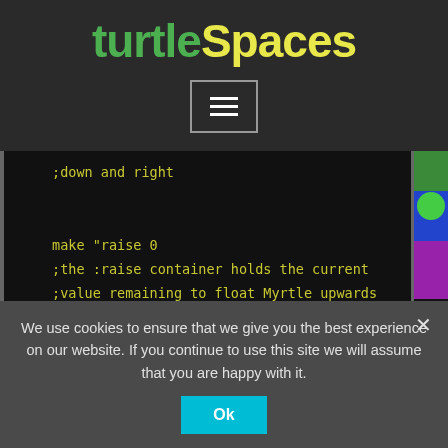turtleSpaces
[Figure (screenshot): Hamburger menu button with three horizontal lines inside a rectangular border]
;down and right

make "raise 0
;the :raise container holds the current
;value remaining to float Myrtle upwards

forever [
We use cookies to ensure that we give you the best experience on our website. If you continue to use this site we will assume that you are happy with it.